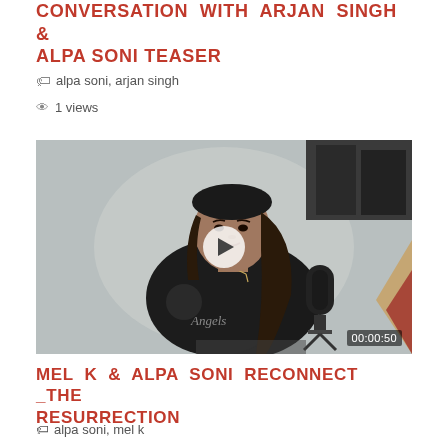CONVERSATION WITH ARJAN SINGH & ALPA SONI TEASER
alpa soni, arjan singh
1 views
[Figure (screenshot): Video thumbnail showing a woman in a black Angels t-shirt sitting in front of a microphone, with a play button overlay and duration 00:00:50]
MEL K & ALPA SONI RECONNECT _THE RESURRECTION
alpa soni, mel k